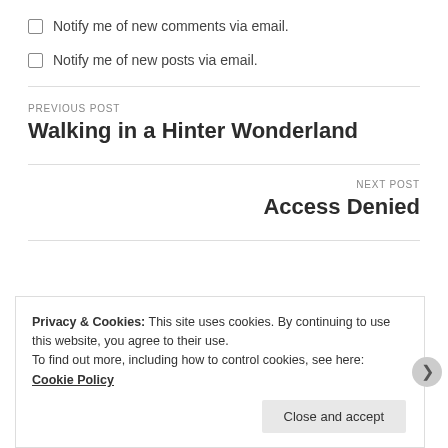Notify me of new comments via email.
Notify me of new posts via email.
PREVIOUS POST
Walking in a Hinter Wonderland
NEXT POST
Access Denied
Privacy & Cookies: This site uses cookies. By continuing to use this website, you agree to their use. To find out more, including how to control cookies, see here: Cookie Policy
Close and accept